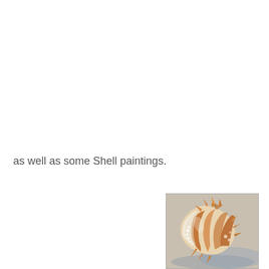as well as some Shell paintings.
[Figure (illustration): A watercolor or pastel painting of a large conch/murex shell with orange-brown stripes and white spines, set against a soft blue-grey background.]